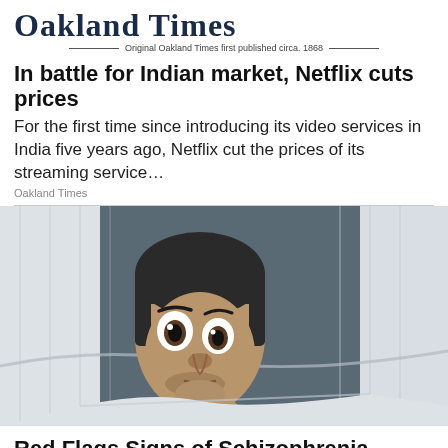Oakland Times — Original Oakland Times first published circa. 1868
In battle for Indian market, Netflix cuts prices
For the first time since introducing its video services in India five years ago, Netflix cut the prices of its streaming service…
Oakland Times
[Figure (photo): A man with wide eyes peeking from under a white blanket or pillow, appearing shocked or scared, lying in bed.]
Red Flags Signs of Schizophrenia